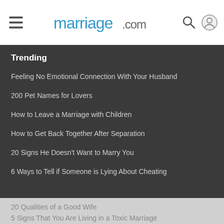marriage.com
Trending
Feeling No Emotional Connection With Your Husband
200 Pet Names for Lovers
How to Leave a Marriage with Children
How to Get Back Together After Separation
20 Signs He Doesn't Want to Marry You
6 Ways to Tell if Someone is Lying About Cheating
20 Qualities of a Good Wife
5 Signs That You Are Living in a Toxic Marriage